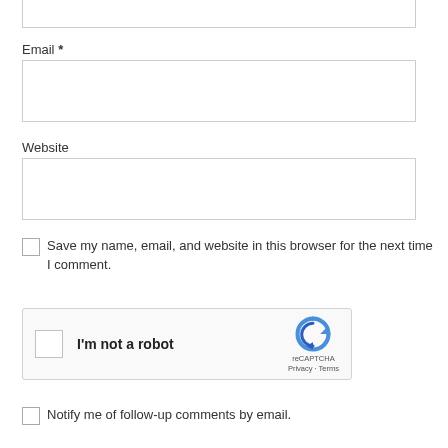[Figure (other): Top portion of a text input box (partially visible at top of page)]
Email *
[Figure (other): Email text input field]
Website
[Figure (other): Website text input field]
Save my name, email, and website in this browser for the next time I comment.
[Figure (other): reCAPTCHA widget with checkbox labeled 'I'm not a robot', reCAPTCHA logo, Privacy and Terms links]
Notify me of follow-up comments by email.